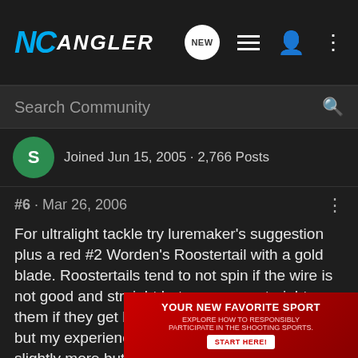NC Angler — navigation bar with logo, NEW button, list icon, user icon, more icon
Search Community
Joined Jun 15, 2005 · 2,766 Posts
#6 · Mar 26, 2006
For ultralight tackle try luremaker's suggestion plus a red #2 Worden's Roostertail with a gold blade. Roostertails tend to not spin if the wire is not good and straight but you can restraighten them if they get bent. Mepps will hold up better but my experience the Roostertail will catch slightly more but that is in no way scientific and probably dependant on which one you are most comfortable with. I agree with Lou that they bite better in cool weather but I have caught them in the dead of summer in blackwater creeks. I've never targeted them in the lakes, but nearly all my lake catches were in winter/early spring. I've never caught o... AL
[Figure (screenshot): Advertisement banner: YOUR NEW FAVORITE SPORT — Explore how to responsibly participate in the shooting sports. START HERE! button on red background.]